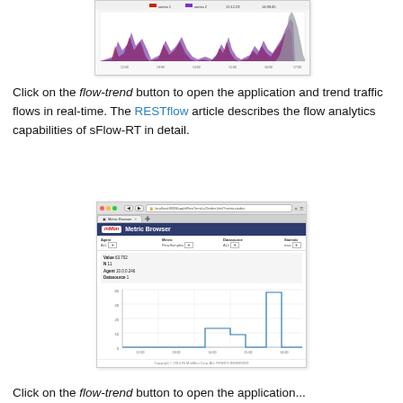[Figure (screenshot): Screenshot of a web application showing a network traffic trend chart with red and purple area charts and a grey area at the right end.]
Click on the flow-trend button to open the application and trend traffic flows in real-time. The RESTflow article describes the flow analytics capabilities of sFlow-RT in detail.
[Figure (screenshot): Screenshot of the Metric Browser web application (sFlowTrend/inMon Corp) showing a line chart with a step-up pattern and metric details: Value 63.702, N 11, Agent 10.0.0.246, Datasource 1.]
Click on the flow-trend button to open the application...